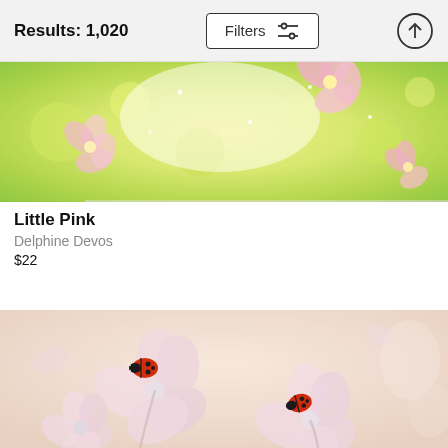Results: 1,020
[Figure (photo): Close-up photo of pink and white flowers with green bokeh background and golden light, partially cropped at top]
Little Pink
Delphine Devos
$22
[Figure (photo): Close-up macro photo of two red ladybugs sitting on soft pink and white hydrangea flowers against a warm beige/cream blurred background]